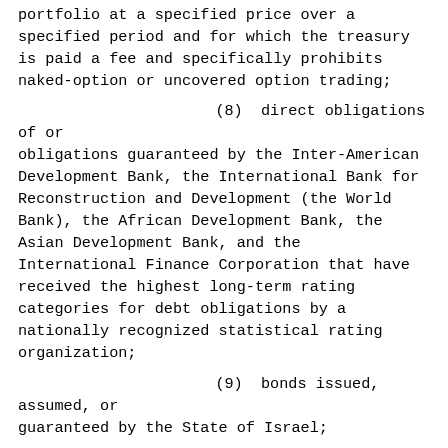portfolio at a specified price over a specified period and for which the treasury is paid a fee and specifically prohibits naked-option or uncovered option trading;
(8)  direct obligations of or obligations guaranteed by the Inter-American Development Bank, the International Bank for Reconstruction and Development (the World Bank), the African Development Bank, the Asian Development Bank, and the International Finance Corporation that have received the highest long-term rating categories for debt obligations by a nationally recognized statistical rating organization;
(9)  bonds issued, assumed, or guaranteed by the State of Israel;
(10)  obligations of a state or an agency, county, city, or other political